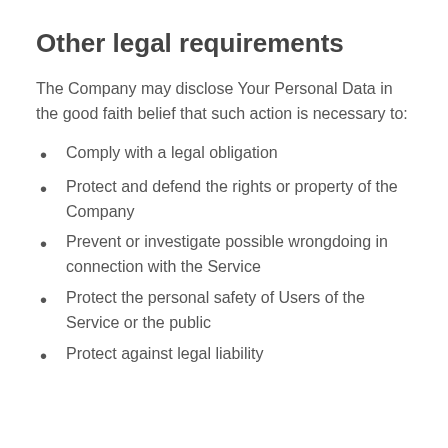Other legal requirements
The Company may disclose Your Personal Data in the good faith belief that such action is necessary to:
Comply with a legal obligation
Protect and defend the rights or property of the Company
Prevent or investigate possible wrongdoing in connection with the Service
Protect the personal safety of Users of the Service or the public
Protect against legal liability